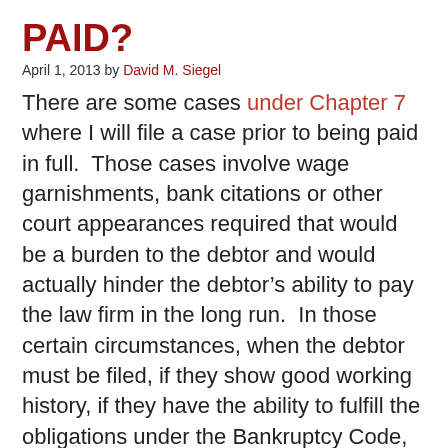PAID?
April 1, 2013 by David M. Siegel
There are some cases under Chapter 7 where I will file a case prior to being paid in full.  Those cases involve wage garnishments, bank citations or other court appearances required that would be a burden to the debtor and would actually hinder the debtor’s ability to pay the law firm in the long run.  In those certain circumstances, when the debtor must be filed, if they show good working history, if they have the ability to fulfill the obligations under the Bankruptcy Code, then I will consider filing prior to being paid in full.  In those circumstances, we